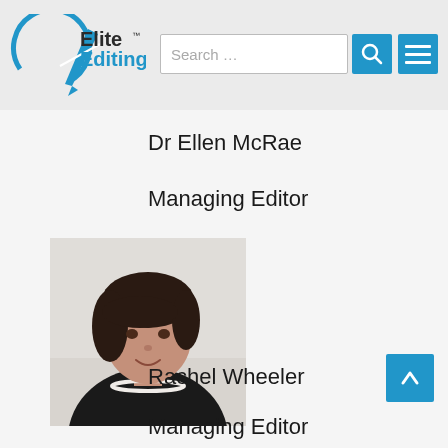Elite Editing — Search bar and navigation
Dr Ellen McRae
Managing Editor
[Figure (photo): Headshot photo of Dr Ellen McRae, a woman with dark hair wearing a black top and pearl necklace, against a light grey background]
Rachel Wheeler
Managing Editor